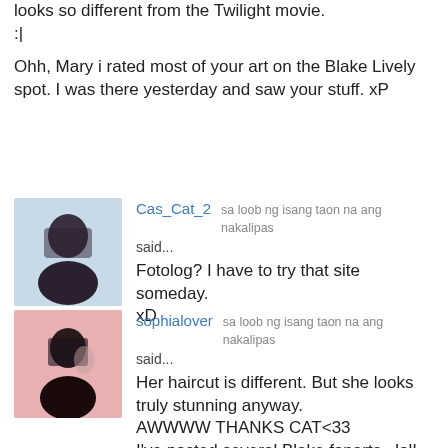looks so different from the Twilight movie. :|
Ohh, Mary i rated most of your art on the Blake Lively spot. I was there yesterday and saw your stuff. xP
Cas_Cat_2  sa loob ng isang taon na ang nakalipas
said...
Fotolog? I have to try that site someday. xD
sophialover  sa loob ng isang taon na ang nakalipas
said...
Her haircut is different. But she looks truly stunning anyway.
AWWWW THANKS CAT<33
I've posted several Blake fanarts...lol!
Cas_Cat_2  sa loob ng isang taon na ang nakalipas
said...
I know, they all looked amazing! =D <33